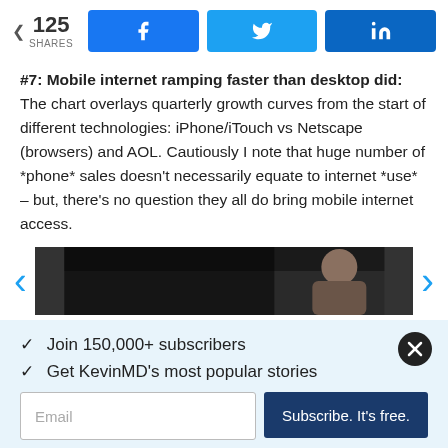< 125 SHARES [Facebook] [Twitter] [LinkedIn]
#7: Mobile internet ramping faster than desktop did: The chart overlays quarterly growth curves from the start of different technologies: iPhone/iTouch vs Netscape (browsers) and AOL. Cautiously I note that huge number of *phone* sales doesn't necessarily equate to internet *use* – but, there's no question they all do bring mobile internet access.
[Figure (photo): Partially visible image with dark header strip and a person visible on the right side, with navigation arrows on either side]
✓  Join 150,000+ subscribers
✓  Get KevinMD's most popular stories
Email | Subscribe. It's free.